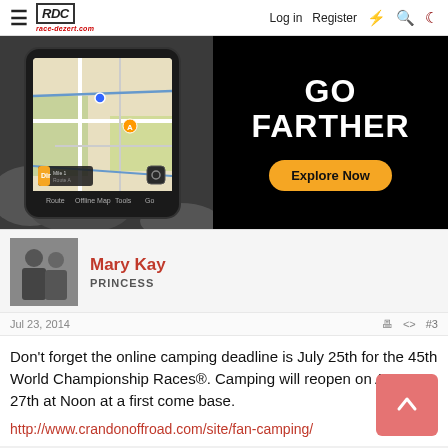≡ race-dezert.com  Log in  Register
[Figure (screenshot): Advertisement banner: left side shows a phone with an off-road map app displayed. Right side is black background with large white bold text 'GO FARTHER' and an orange pill-shaped button labeled 'Explore Now'.]
Mary Kay
PRINCESS
Jul 23, 2014  #3
Don't forget the online camping deadline is July 25th for the 45th World Championship Races®. Camping will reopen on August 27th at Noon at a first come base.
http://www.crandonoffroad.com/site/fan-camping/